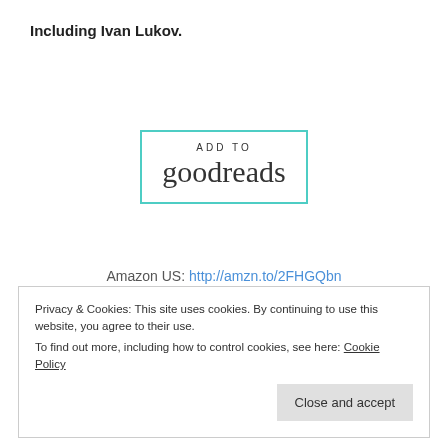Including Ivan Lukov.
[Figure (other): Add to Goodreads button with teal border, showing 'ADD TO' in small caps and 'goodreads' in script font]
Amazon US: http://amzn.to/2FHGQbn
Privacy & Cookies: This site uses cookies. By continuing to use this website, you agree to their use.
To find out more, including how to control cookies, see here: Cookie Policy
Close and accept